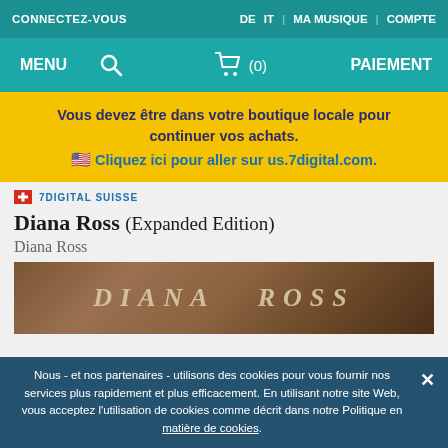CONNECTEZ-VOUS | DE IT | MA MUSIQUE | COMPTE
MENU | (search) | (0) | PAIEMENT
Vous devez être dans votre boutique locale pour continuer vos achats. 🇺🇸 Cliquez ici pour aller sur us.7digital.com.
🇨🇭 7DIGITAL SUISSE
Diana Ross (Expanded Edition)
Diana Ross
[Figure (photo): Album cover showing 'DIANA ROSS' text in italic serif font on a brown/dark background]
Nous - et nos partenaires - utilisons des cookies pour vous fournir nos services plus rapidement et plus efficacement. En utilisant notre site Web, vous acceptez l'utilisation de cookies comme décrit dans notre Politique en matière de cookies.